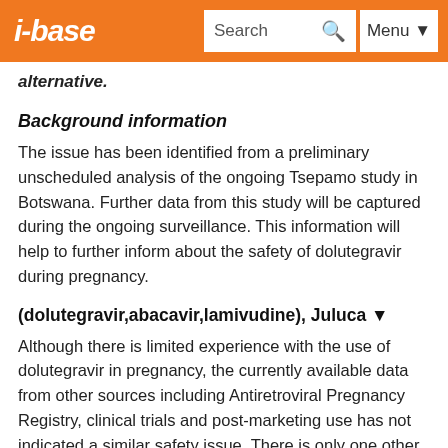i-base | Search | Menu
alternative.
Background information
The issue has been identified from a preliminary unscheduled analysis of the ongoing Tsepamo study in Botswana. Further data from this study will be captured during the ongoing surveillance. This information will help to further inform about the safety of dolutegravir during pregnancy.
(dolutegravir,abacavir,lamivudine), Juluca ▼
Although there is limited experience with the use of dolutegravir in pregnancy, the currently available data from other sources including Antiretroviral Pregnancy Registry, clinical trials and post-marketing use has not indicated a similar safety issue. There is only one other report of NTD